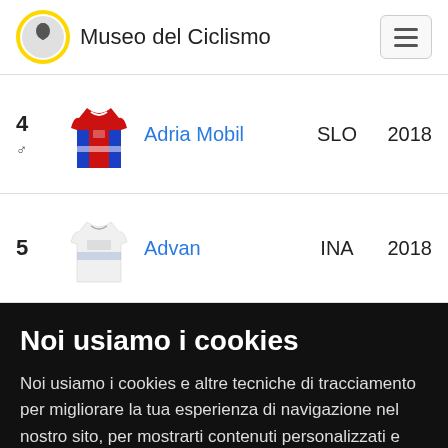Museo del Ciclismo
| # | Jersey | Team | Nation | Year |
| --- | --- | --- | --- | --- |
| 4 ♂ |  | Adria Mobil | SLO | 2018 |
| 5 |  | Advan | INA | 2018 |
Noi usiamo i cookies
Noi usiamo i cookies e altre tecniche di tracciamento per migliorare la tua esperienza di navigazione nel nostro sito, per mostrarti contenuti personalizzati e annunci mirati, per